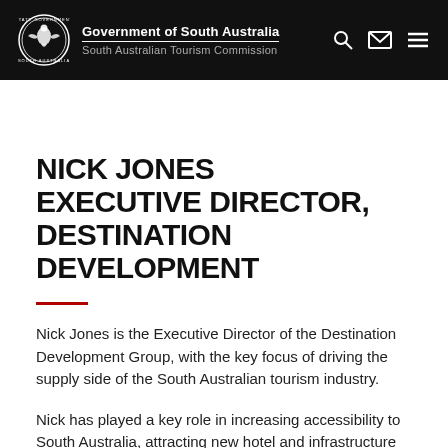Government of South Australia — South Australian Tourism Commission
NICK JONES EXECUTIVE DIRECTOR, DESTINATION DEVELOPMENT
Nick Jones is the Executive Director of the Destination Development Group, with the key focus of driving the supply side of the South Australian tourism industry.
Nick has played a key role in increasing accessibility to South Australia, attracting new hotel and infrastructure development, driving tourism...